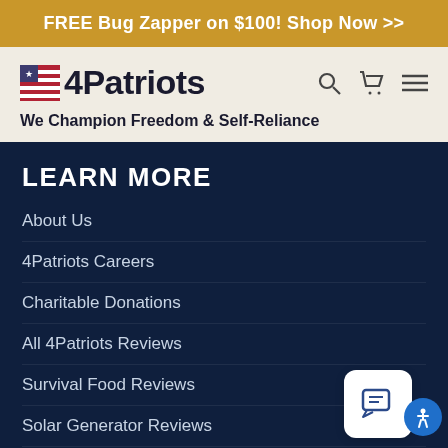FREE Bug Zapper on $100! Shop Now >>
[Figure (logo): 4Patriots logo with American flag icon and text '4Patriots']
We Champion Freedom & Self-Reliance
LEARN MORE
About Us
4Patriots Careers
Charitable Donations
All 4Patriots Reviews
Survival Food Reviews
Solar Generator Reviews
Preparedness & Survival Blog
Health Store